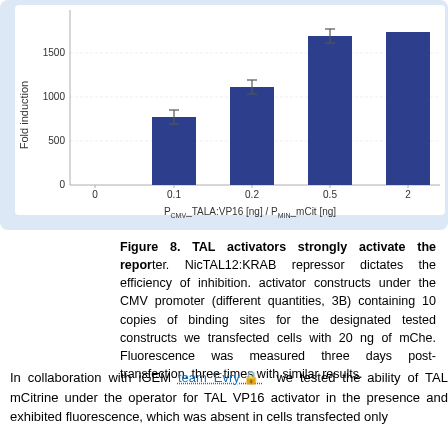[Figure (bar-chart): Fold induction vs PCMV_TALA:VP16 [ng] / PMIN_mCit [ng]]
Figure 8. TAL activators strongly activate the reporter. NicTAL12:KRAB repressor dictates the efficiency of inhibition. activator constructs under the CMV promoter (different quantities, 3B) containing 10 copies of binding sites for the designated tested constructs we transfected cells with 20 ng of mCh. Fluorescence was measured three days post-transfection three times with similar results.
In collaboration with iGEM team Evry we tested the ability of TAL mCitrine under the operator for TAL VP16 activator in the presence and exhibited fluorescence, which was absent in cells transfected only